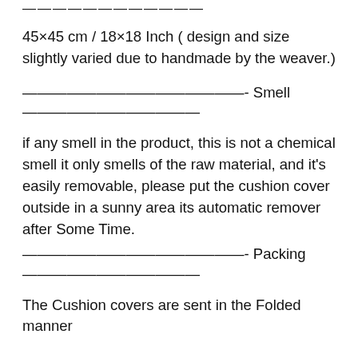————————————
45×45 cm / 18×18 Inch ( design and size slightly varied due to handmade by the weaver.)
———————————————- Smell ————————————
if any smell in the product, this is not a chemical smell it only smells of the raw material, and it's easily removable, please put the cushion cover outside in a sunny area its automatic remover after Some Time.
———————————————- Packing ————————————
The Cushion covers are sent in the Folded manner